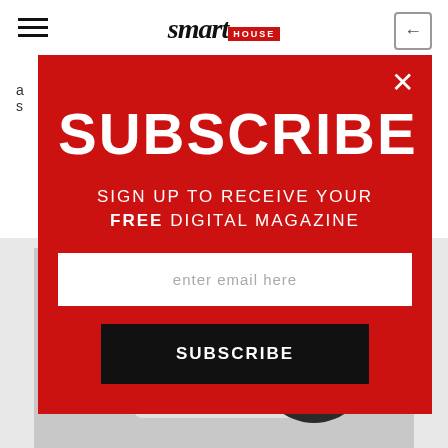smart HOUSE
a
s
[Figure (photo): Samsung product photo visible at the bottom of the page behind the modal overlay]
SUBSCRIBE
SIGN UP TO RECEIVE YOUR FREE DIGITAL MAGAZINE
enter email here
SUBSCRIBE